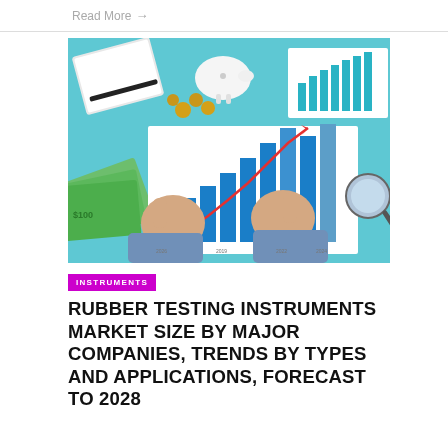Read More →
[Figure (photo): A person giving two thumbs up behind a bar chart showing growth trend with a rising red line, surrounded by money, coins, piggy bank, magnifying glass, and another bar chart on a blue background.]
INSTRUMENTS
RUBBER TESTING INSTRUMENTS MARKET SIZE BY MAJOR COMPANIES, TRENDS BY TYPES AND APPLICATIONS, FORECAST TO 2028